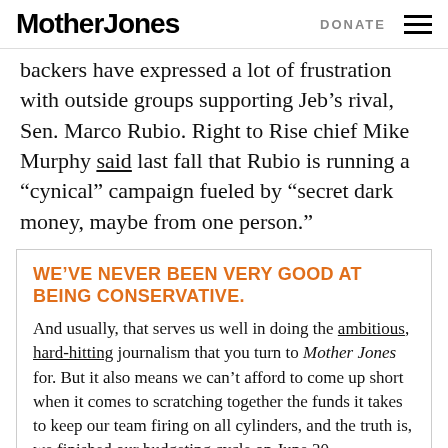Mother Jones | DONATE
backers have expressed a lot of frustration with outside groups supporting Jeb’s rival, Sen. Marco Rubio. Right to Rise chief Mike Murphy said last fall that Rubio is running a “cynical” campaign fueled by “secret dark money, maybe from one person.”
WE’VE NEVER BEEN VERY GOOD AT BEING CONSERVATIVE.
And usually, that serves us well in doing the ambitious, hard-hitting journalism that you turn to Mother Jones for. But it also means we can’t afford to come up short when it comes to scratching together the funds it takes to keep our team firing on all cylinders, and the truth is, we finished our budgeting cycle on June 30...